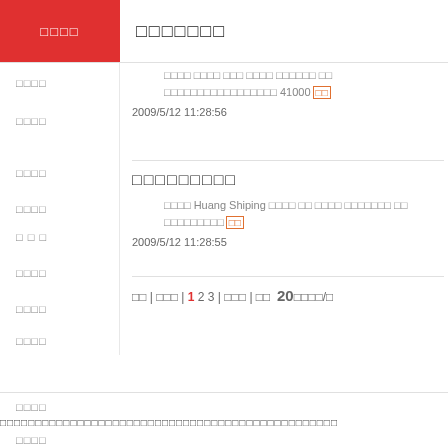□□□□
□□□□□□□
□□□□ □□□□ □□□ □□□□ □□□□□□ □□ □□□□□□□□□□□□□□□□□ 41000[□□]
2009/5/12 11:28:56
□□□□□□□□□
□□□□ Huang Shiping □□□□ □□ □□□□ □□□□□□□ □□ □□□□□□□□□[□□]
2009/5/12 11:28:55
□□ | □□□ | 1 2 3 | □□□ | □□  20□□□□/□
□□□□
□□□□□□□□□□□□□□□□□□□□□□□□□□□□□□□□□□□□□□□□□□□□□□□□
□□□□